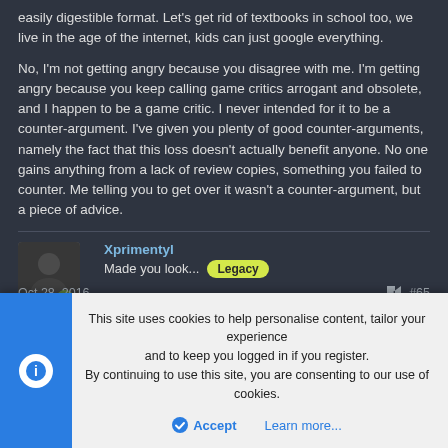easily digestible format. Let's get rid of textbooks in school too, we live in the age of the internet, kids can just google everything.
No, I'm not getting angry because you disagree with me. I'm getting angry because you keep calling game critics arrogant and obsolete, and I happen to be a game critic. I never intended for it to be a counter-argument. I've given you plenty of good counter-arguments, namely the fact that this loss doesn't actually benefit anyone. No one gains anything from a lack of review copies, something you failed to counter. Me telling you to get over it wasn't a counter-argument, but a piece of advice.
[Figure (screenshot): Forum post by user 'Xprimentyl' showing blurred avatar with online indicator, username in blue, post text 'Made you look...' followed by a yellow-green 'Legacy' badge]
Oct 28, 2016  #65
This site uses cookies to help personalise content, tailor your experience and to keep you logged in if you register.
By continuing to use this site, you are consenting to our use of cookies.
Accept   Learn more...